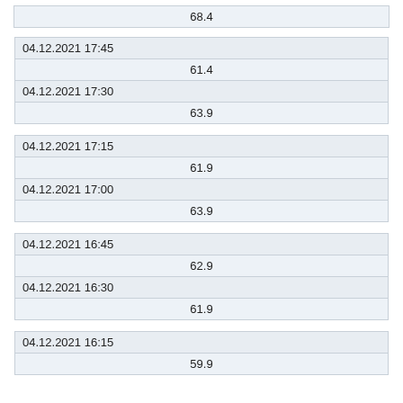| 68.4 |
| 04.12.2021 17:45 | 04.12.2021 17:30 |
| --- | --- |
| 61.4 |
| 63.9 |
| 04.12.2021 17:15 | 04.12.2021 17:00 |
| --- | --- |
| 61.9 |
| 63.9 |
| 04.12.2021 16:45 | 04.12.2021 16:30 |
| --- | --- |
| 62.9 |
| 61.9 |
| 04.12.2021 16:15 |
| --- |
| 59.9 |